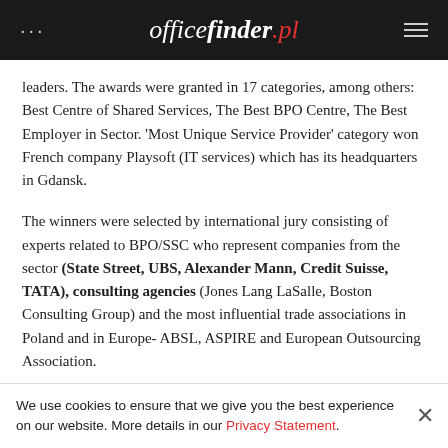... officefinder.pl ☰
leaders. The awards were granted in 17 categories, among others: Best Centre of Shared Services, The Best BPO Centre, The Best Employer in Sector. 'Most Unique Service Provider' category won French company Playsoft (IT services) which has its headquarters in Gdansk.
The winners were selected by international jury consisting of experts related to BPO/SSC who represent companies from the sector (State Street, UBS, Alexander Mann, Credit Suisse, TATA), consulting agencies (Jones Lang LaSalle, Boston Consulting Group) and the most influential trade associations in Poland and in Europe- ABSL, ASPIRE and European Outsourcing Association.
The award has been granted to Tri-City in recognition of
We use cookies to ensure that we give you the best experience on our website. More details in our Privacy Statement.